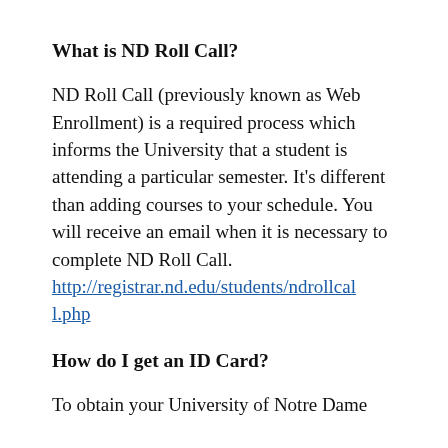What is ND Roll Call?
ND Roll Call (previously known as Web Enrollment) is a required process which informs the University that a student is attending a particular semester. It’s different than adding courses to your schedule. You will receive an email when it is necessary to complete ND Roll Call. http://registrar.nd.edu/students/ndrollcall.php
How do I get an ID Card?
To obtain your University of Notre Dame